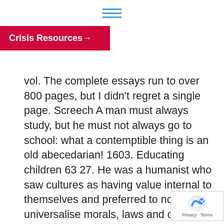≡ (hamburger menu icon)
Crisis Resources →
vol. The complete essays run to over 800 pages, but I didn't regret a single page. Screech A man must always study, but he must not always go to school: what a contemptible thing is an old abecedarian! 1603. Educating children 63 27. He was a humanist who saw cultures as having value internal to themselves and preferred to not universalise morals, laws and other ideas About The Essays. Michel de Montaigne is widely appreciated as one of the most important figures in the late French Renaissance, both for his literary innovations montaigne and essays as